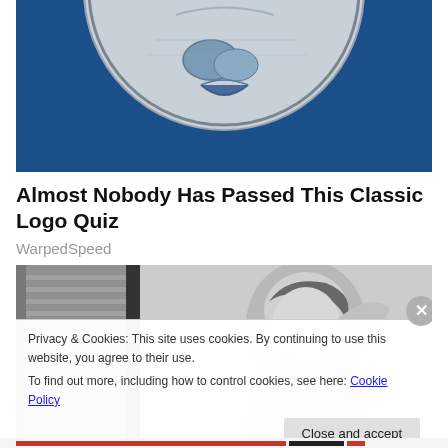[Figure (photo): Partially visible circular logo on dark blue background — a silver/chrome illustrated face with open mouth, appearing to be a classic brand logo, cropped at top.]
Almost Nobody Has Passed This Classic Logo Quiz
WarpedSpeed
[Figure (photo): Black and white photograph of a woman with curly hair holding her hand to her forehead, looking upward, with venetian blinds in the background.]
Privacy & Cookies: This site uses cookies. By continuing to use this website, you agree to their use.
To find out more, including how to control cookies, see here: Cookie Policy